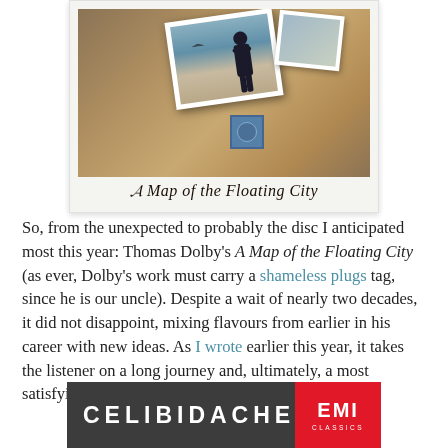[Figure (illustration): Album cover for 'A Map of the Floating City' by Thomas Dolby. Features vintage postcard/map aesthetic with a rotated photograph of a figure, a blue stamp, and ornate title text.]
So, from the unexpected to probably the disc I anticipated most this year: Thomas Dolby's A Map of the Floating City (as ever, Dolby's work must carry a shameless plugs tag, since he is our uncle). Despite a wait of nearly two decades, it did not disappoint, mixing flavours from earlier in his career with new ideas. As I wrote earlier this year, it takes the listener on a long journey and, ultimately, a most satisfying one.
[Figure (illustration): Celibidache EMI Classics album cover/banner. Dark grey background with 'CELIBIDACHE' in large white bold letters and 'EMI CLASSICS' red block on the right.]